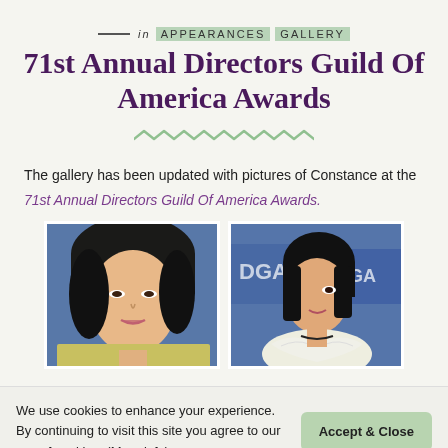in APPEARANCES GALLERY
71st Annual Directors Guild Of America Awards
The gallery has been updated with pictures of Constance at the 71st Annual Directors Guild Of America Awards.
[Figure (photo): Two photos of Constance Wu at the 71st Annual Directors Guild Of America Awards. Left photo is a close-up headshot against a blue background. Right photo shows her from behind/side at the DGA awards backdrop.]
We use cookies to enhance your experience. By continuing to visit this site you agree to our use of cookies. (More info)